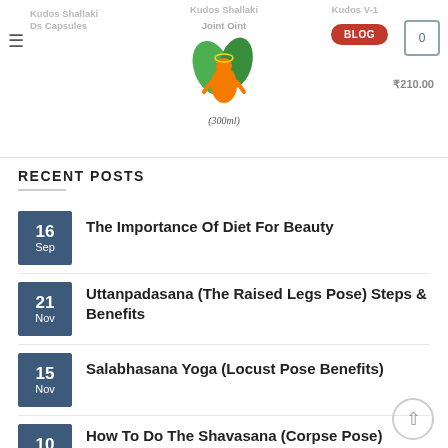Kudos Shallaki Ds Capsules | Kudos Shallaki Joint Oint (300ml) | Kudos V-1 | ₹210.00
RECENT POSTS
16 Sep — The Importance Of Diet For Beauty
21 Nov — Uttanpadasana (The Raised Legs Pose) Steps & Benefits
15 Nov — Salabhasana Yoga (Locust Pose Benefits)
10 Nov — How To Do The Shavasana (Corpse Pose) Method And Benefits